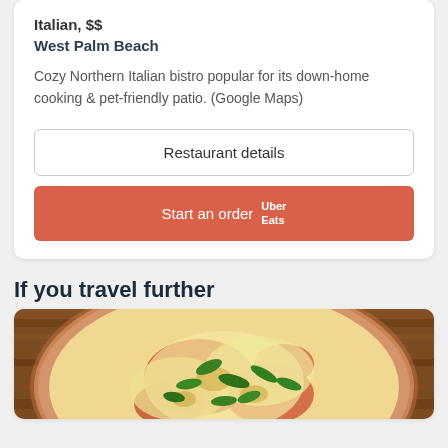Italian, $$
West Palm Beach
Cozy Northern Italian bistro popular for its down-home cooking & pet-friendly patio. (Google Maps)
Restaurant details
Start an order  Uber Eats
If you travel further
[Figure (photo): Close-up photo of a pizza with melted cheese, tomato sauce, and fresh basil leaves on a wooden surface]